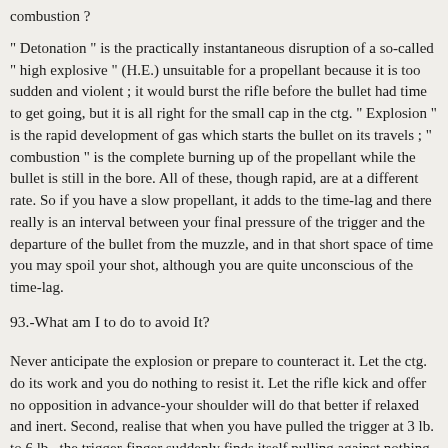combustion ?
" Detonation " is the practically instantaneous disruption of a so-called " high explosive " (H.E.) unsuitable for a propellant because it is too sudden and violent ; it would burst the rifle before the bullet had time to get going, but it is all right for the small cap in the ctg. " Explosion " is the rapid development of gas which starts the bullet on its travels ; " combustion " is the complete burning up of the propellant while the bullet is still in the bore. All of these, though rapid, are at a different rate. So if you have a slow propellant, it adds to the time-lag and there really is an interval between your final pressure of the trigger and the departure of the bullet from the muzzle, and in that short space of time you may spoil your shot, although you are quite unconscious of the time-lag.
93.-What am I to do to avoid It?
Never anticipate the explosion or prepare to counteract it. Let the ctg. do its work and you do nothing to resist it. Let the rifle kick and offer no opposition in advance-your shoulder will do that better if relaxed and inert. Second, realise that when you have pulled the trigger at 3 lb. to 6 lb., the trigger-finger suddenly finds itself pulling against nothing, which means that it is almost instantaneously pulling back when it should have stopped. In short, you can only nullify the